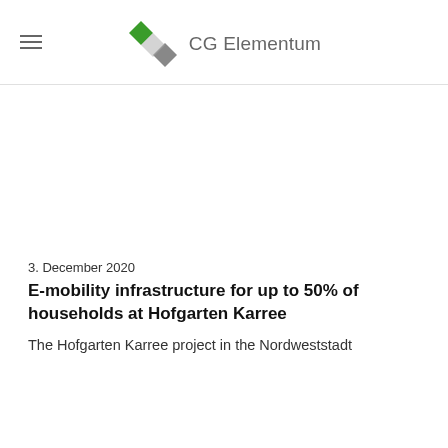CG Elementum
3. December 2020
E-mobility infrastructure for up to 50% of households at Hofgarten Karree
The Hofgarten Karree project in the Nordweststadt